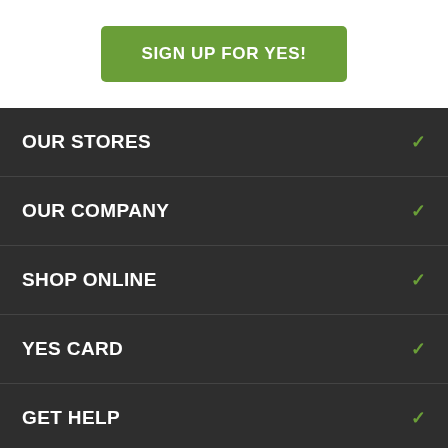SIGN UP FOR YES!
OUR STORES
OUR COMPANY
SHOP ONLINE
YES CARD
GET HELP